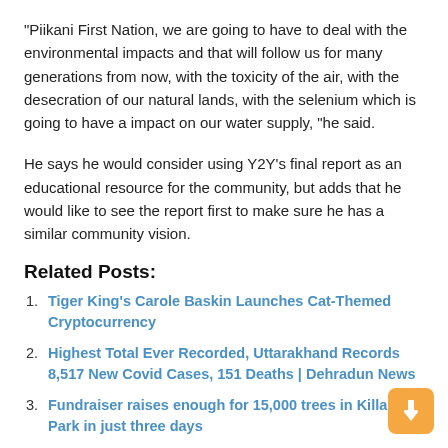“Piikani First Nation, we are going to have to deal with the environmental impacts and that will follow us for many generations from now, with the toxicity of the air, with the desecration of our natural lands, with the selenium which is going to have a impact on our water supply, “he said.
He says he would consider using Y2Y’s final report as an educational resource for the community, but adds that he would like to see the report first to make sure he has a similar community vision.
Related Posts:
Tiger King’s Carole Baskin Launches Cat-Themed Cryptocurrency
Highest Total Ever Recorded, Uttarakhand Records 8,517 New Covid Cases, 151 Deaths | Dehradun News
Fundraiser raises enough for 15,000 trees in Killarney Park in just three days
Revisiting our position on racism | Community and ways of life